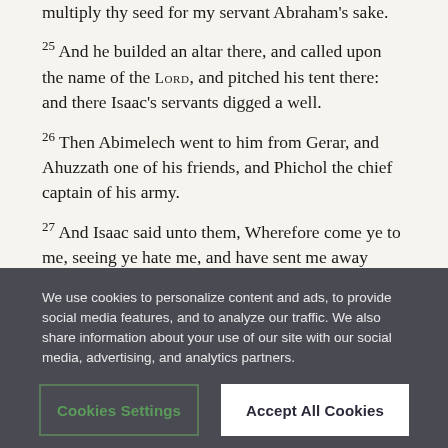multiply thy seed for my servant Abraham's sake.
25 And he builded an altar there, and called upon the name of the LORD, and pitched his tent there: and there Isaac's servants digged a well.
26 Then Abimelech went to him from Gerar, and Ahuzzath one of his friends, and Phichol the chief captain of his army.
27 And Isaac said unto them, Wherefore come ye to me, seeing ye hate me, and have sent me away from
We use cookies to personalize content and ads, to provide social media features, and to analyze our traffic. We also share information about your use of our site with our social media, advertising, and analytics partners.
Cookies Settings
Accept All Cookies